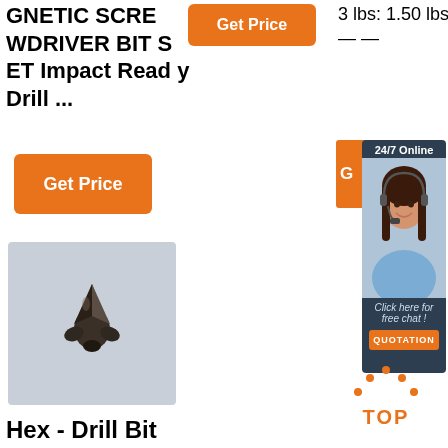GNETIC SCREWDRIVER BIT SET Impact Ready Drill ...
[Figure (other): Orange 'Get Price' button (top center)]
3 lbs: 1.50 lbs — —
[Figure (other): Orange 'G' partial button on right side]
[Figure (other): 24/7 Online chat widget with woman wearing headset, 'Click here for free chat!' text, and QUOTATION orange button]
[Figure (other): Orange 'Get Price' button (left side)]
[Figure (photo): Photo of a drill bit (hex/cross drill bit) on grey background]
Hex - Drill Bit Sets - Drill
[Figure (other): TOP logo with orange dots forming an arc above the word TOP]